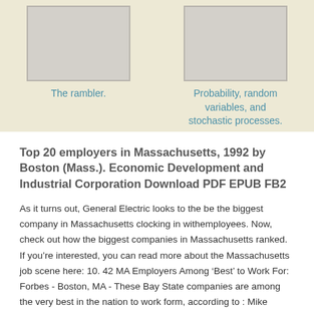[Figure (illustration): Book cover placeholder image (gray rectangle) on beige background]
The rambler.
[Figure (illustration): Book cover placeholder image (gray rectangle) on beige background]
Probability, random variables, and stochastic processes.
Top 20 employers in Massachusetts, 1992 by Boston (Mass.). Economic Development and Industrial Corporation Download PDF EPUB FB2
As it turns out, General Electric looks to the be the biggest company in Massachusetts clocking in withemployees. Now, check out how the biggest companies in Massachusetts ranked. If you’re interested, you can read more about the Massachusetts job scene here: 10. 42 MA Employers Among ‘Best’ to Work For: Forbes - Boston, MA - These Bay State companies are among the very best in the nation to work form, according to : Mike Carraggi.